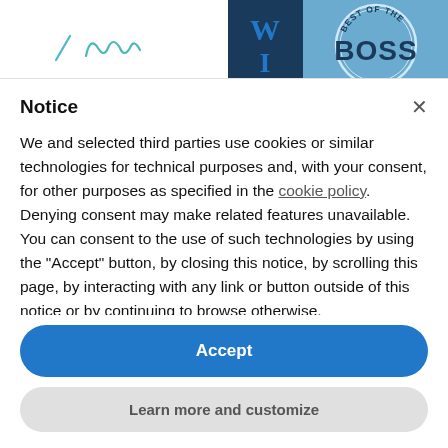[Figure (logo): WI logo (dark blue square with white W and I letters) and a circular 'Best of the Boss' badge on blue background, top right corner]
[Figure (other): Handwritten-style signature or text in teal/cyan color on white background, top left area]
Notice
We and selected third parties use cookies or similar technologies for technical purposes and, with your consent, for other purposes as specified in the cookie policy. Denying consent may make related features unavailable. You can consent to the use of such technologies by using the "Accept" button, by closing this notice, by scrolling this page, by interacting with any link or button outside of this notice or by continuing to browse otherwise.
Accept
Learn more and customize